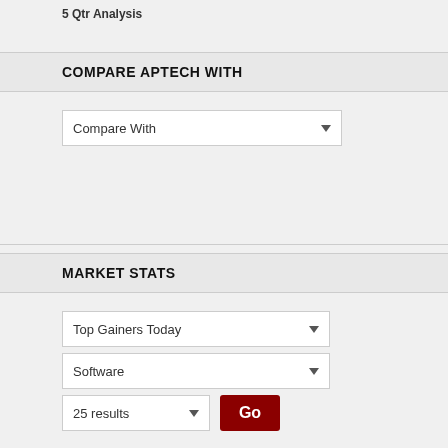5 Qtr Analysis
COMPARE APTECH WITH
[Figure (screenshot): Compare With dropdown selector]
MARKET STATS
[Figure (screenshot): Market Stats controls: Top Gainers Today dropdown, Software dropdown, 25 results dropdown, Go button]